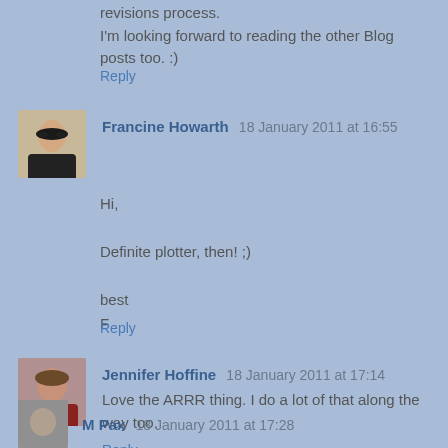I'm looking forward to reading the other Blog posts too. :)
Reply
Francine Howarth 18 January 2011 at 16:55
Hi,

Definite plotter, then! ;)

best
F
Reply
Jennifer Hoffine 18 January 2011 at 17:14
Love the ARRR thing. I do a lot of that along the way too.
Reply
M Pax 18 January 2011 at 17:28